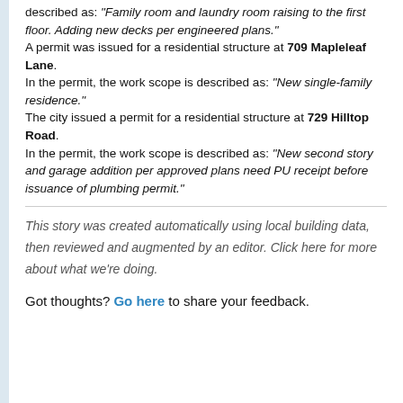described as: "Family room and laundry room raising to the first floor. Adding new decks per engineered plans." A permit was issued for a residential structure at 709 Mapleleaf Lane. In the permit, the work scope is described as: "New single-family residence." The city issued a permit for a residential structure at 729 Hilltop Road. In the permit, the work scope is described as: "New second story and garage addition per approved plans need PU receipt before issuance of plumbing permit."
This story was created automatically using local building data, then reviewed and augmented by an editor. Click here for more about what we're doing.
Got thoughts? Go here to share your feedback.